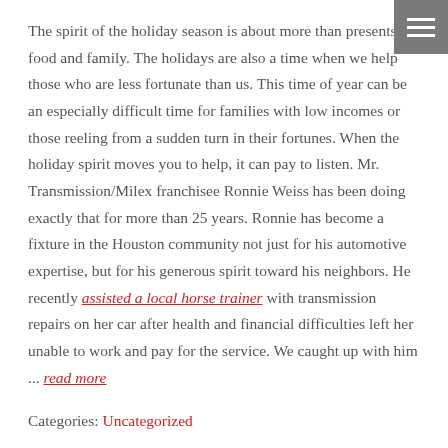The spirit of the holiday season is about more than presents, food and family. The holidays are also a time when we help those who are less fortunate than us. This time of year can be an especially difficult time for families with low incomes or those reeling from a sudden turn in their fortunes. When the holiday spirit moves you to help, it can pay to listen. Mr. Transmission/Milex franchisee Ronnie Weiss has been doing exactly that for more than 25 years. Ronnie has become a fixture in the Houston community not just for his automotive expertise, but for his generous spirit toward his neighbors. He recently assisted a local horse trainer with transmission repairs on her car after health and financial difficulties left her unable to work and pay for the service. We caught up with him ... read more
Categories: Uncategorized